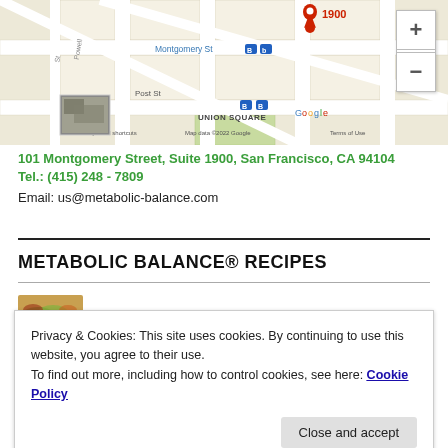[Figure (map): Google Maps screenshot showing Union Square area in San Francisco, with a red pin marker at 1900, showing Montgomery St, Post St, Powell St labels, BART/bus icons, Google logo, and map attribution. Zoom +/- controls on the right. Small thumbnail image in bottom-left corner of map.]
101 Montgomery Street, Suite 1900, San Francisco, CA 94104
Tel.: (415) 248 - 7809
Email: us@metabolic-balance.com
METABOLIC BALANCE® RECIPES
[Figure (photo): Small thumbnail of leafy green/red salad or plant]
Privacy & Cookies: This site uses cookies. By continuing to use this website, you agree to their use.
To find out more, including how to control cookies, see here: Cookie Policy
Close and accept